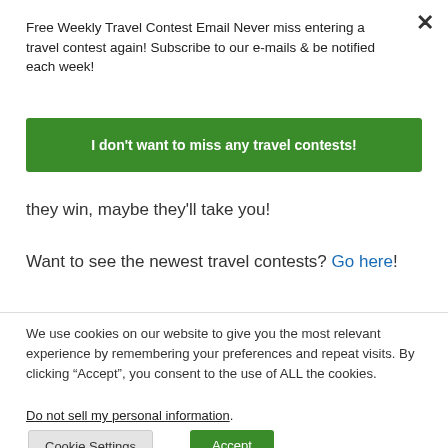Free Weekly Travel Contest Email Never miss entering a travel contest again! Subscribe to our e-mails & be notified each week!
I don't want to miss any travel contests!
they win, maybe they'll take you!
Want to see the newest travel contests? Go here!
We use cookies on our website to give you the most relevant experience by remembering your preferences and repeat visits. By clicking “Accept”, you consent to the use of ALL the cookies.
Do not sell my personal information.
Cookie Settings
Accept